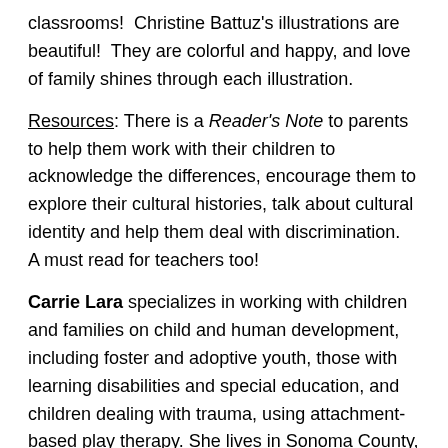classrooms!  Christine Battuz's illustrations are beautiful!  They are colorful and happy, and love of family shines through each illustration.
Resources: There is a Reader's Note to parents to help them work with their children to acknowledge the differences, encourage them to explore their cultural histories, talk about cultural identity and help them deal with discrimination.  A must read for teachers too!
Carrie Lara specializes in working with children and families on child and human development, including foster and adoptive youth, those with learning disabilities and special education, and children dealing with trauma, using attachment-based play therapy. She lives in Sonoma County, CA.  Visit her at FB @authorcarrielara.
Every Friday, authors and KidLit bloggers post a